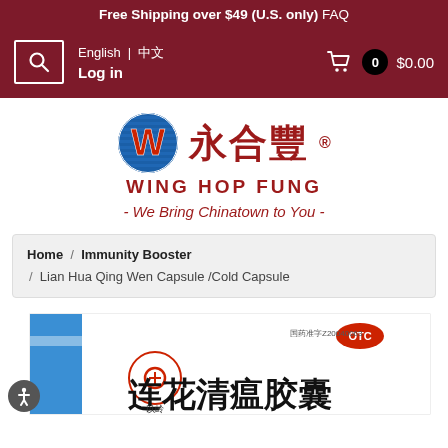Free Shipping over $49 (U.S. only) FAQ
English | 中文  Log in  0  $0.00
[Figure (logo): Wing Hop Fung logo with W emblem, Chinese characters 永合豐, brand name WING HOP FUNG, and tagline - We Bring Chinatown to You -]
Home / Immunity Booster / Lian Hua Qing Wen Capsule /Cold Capsule
[Figure (photo): Partial view of Lian Hua Qing Wen Capsule product box with Chinese text, OTC label, and product number Z20040063]